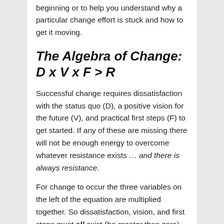beginning or to help you understand why a particular change effort is stuck and how to get it moving.
The Algebra of Change:  D x V x F > R
Successful change requires dissatisfaction with the status quo (D), a positive vision for the future (V), and practical first steps (F) to get started. If any of these are missing there will not be enough energy to overcome whatever resistance exists … and there is always resistance.
For change to occur the three variables on the left of the equation are multiplied together. So dissatisfaction, vision, and first steps must all exist (be greater than zero) for the left